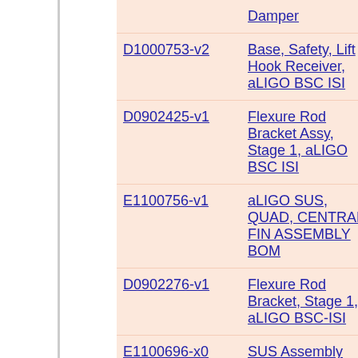| Document ID | Title | Author | Category |
| --- | --- | --- | --- |
|  | Damper |  | Isol… |
| D1000753-v2 | Base, Safety, Lift Hook Receiver, aLIGO BSC ISI | Michael Hillard et al. | Fin… Sei… Isol… |
| D0902425-v1 | Flexure Rod Bracket Assy, Stage 1, aLIGO BSC ISI | Fabrice Matichard | Fin… Sei… Isol… |
| E1100756-v1 | aLIGO SUS, QUAD, CENTRAL FIN ASSEMBLY BOM | Michael Hillard | Fin… Sus… |
| D0902276-v1 | Flexure Rod Bracket, Stage 1, aLIGO BSC-ISI | Fabrice Matichard | Fin… Sei… Isol… |
| E1100696-x0 | SUS Assembly drawing and instruction update | Michael Hillard | Fin… Sus… |
| D972121-v2 | BSC SUPPORT TUBE, aLIGO | Andy Stein et al. | Fin… Sei… Isol… |
| E1100663-x0 | DCN QUAD ITM/ETM CROSS… | Michael Hillard | Fin… Sus… |